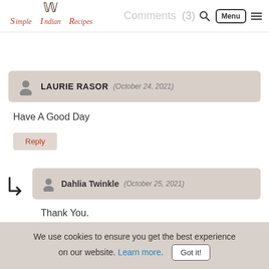Simple Indian Recipes — Menu
Comments (3)
LAURIE RASOR (October 24, 2021)
Have A Good Day
Reply
Dahlia Twinkle (October 25, 2021)
Thank You.
We use cookies to ensure you get the best experience on our website. Learn more. Got it!